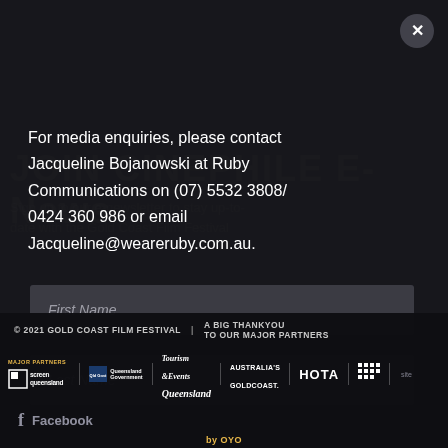For media enquiries, please contact Jacqueline Bojanowski at Ruby Communications on (07) 5532 3808/ 0424 360 986 or email Jacqueline@weareruby.com.au.
First Name
Last Name
© 2021 GOLD COAST FILM FESTIVAL | A BIG THANKYOU TO OUR MAJOR PARTNERS
[Figure (logo): Major partners logos: Screen Queensland, Queensland Government, Tourism & Events Queensland, Australia's Gold Coast, HOTA, and grid logo]
Facebook
by OYO